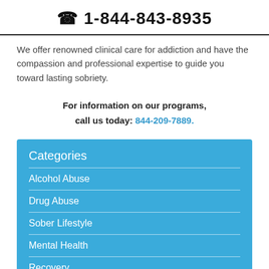☎ 1-844-843-8935
We offer renowned clinical care for addiction and have the compassion and professional expertise to guide you toward lasting sobriety.
For information on our programs, call us today: 844-209-7889.
Categories
Alcohol Abuse
Drug Abuse
Sober Lifestyle
Mental Health
Recovery